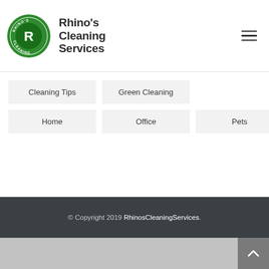[Figure (logo): Rhino's Cleaning Services circular green logo with a white rhino and the letter R, with brand name text to the right]
Cleaning Tips
Green Cleaning
Home
Office
Pets
© Copyright 2019 RhinosCleaningServices.